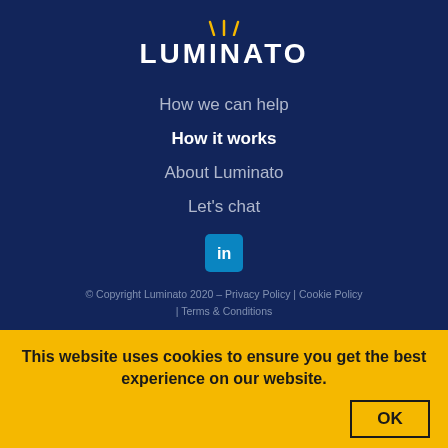[Figure (logo): Luminato logo with yellow rays above white bold text LUMINATO on dark blue background]
How we can help
How it works
About Luminato
Let's chat
[Figure (logo): LinkedIn social media icon - white 'in' on blue rounded square]
© Copyright Luminato 2020 – Privacy Policy | Cookie Policy | Terms & Conditions
This website uses cookies to ensure you get the best experience on our website.
OK